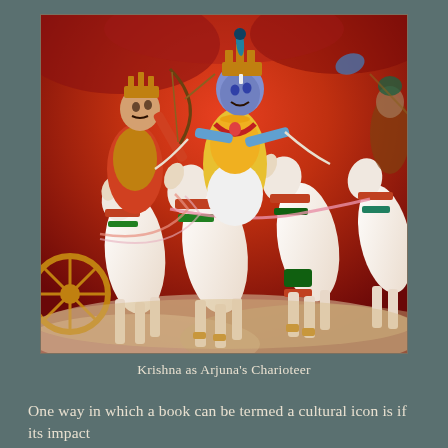[Figure (illustration): A colorful Hindu religious painting depicting Krishna as Arjuna's Charioteer. Krishna, dressed in golden/yellow robes with jewelry and a crown, stands at the front of a chariot guiding four white horses adorned with decorative red, green and gold ornaments. Arjuna is visible behind him holding a bow. The background has dramatic red/orange clouds and a battle scene atmosphere.]
Krishna as Arjuna's Charioteer
One way in which a book can be termed a cultural icon is if its impact